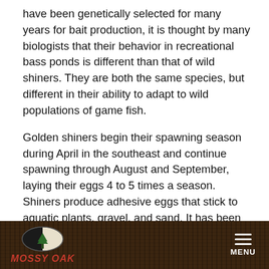have been genetically selected for many years for bait production, it is thought by many biologists that their behavior in recreational bass ponds is different than that of wild shiners. They are both the same species, but different in their ability to adapt to wild populations of game fish.
Golden shiners begin their spawning season during April in the southeast and continue spawning through August and September, laying their eggs 4 to 5 times a season. Shiners produce adhesive eggs that stick to aquatic plants, gravel, and sand. It has been documented that shiners will deposit their eggs in the nest of sunfish and leave the male sunfish to care for their eggs. In many areas, shiners obtain sexual maturity at one year of age, although the offspring of early spawned shiners may spawn during late summer or early fall. Mature females that are 6- to 8-inches in length may
[Figure (logo): Mossy Oak logo — oval shape with tree silhouette and MOSSY OAK text in red italic]